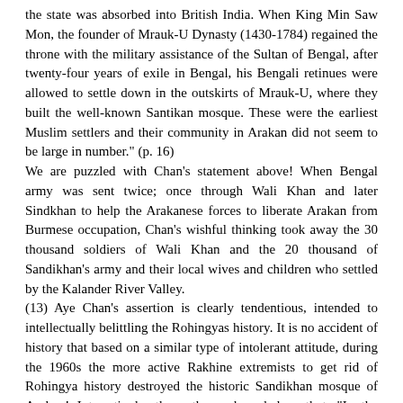the state was absorbed into British India. When King Min Saw Mon, the founder of Mrauk-U Dynasty (1430-1784) regained the throne with the military assistance of the Sultan of Bengal, after twenty-four years of exile in Bengal, his Bengali retinues were allowed to settle down in the outskirts of Mrauk-U, where they built the well-known Santikan mosque. These were the earliest Muslim settlers and their community in Arakan did not seem to be large in number." (p. 16)
We are puzzled with Chan's statement above! When Bengal army was sent twice; once through Wali Khan and later Sindkhan to help the Arakanese forces to liberate Arakan from Burmese occupation, Chan's wishful thinking took away the 30 thousand soldiers of Wali Khan and the 20 thousand of Sandikhan's army and their local wives and children who settled by the Kalander River Valley.
(13) Aye Chan's assertion is clearly tendentious, intended to intellectually belittling the Rohingyas history. It is no accident of history that based on a similar type of intolerant attitude, during the 1960s the more active Rakhine extremists to get rid of Rohingya history destroyed the historic Sandikhan mosque of Arakan! Interestingly, the author acknowledges that, "In the middle of the seventeenth century the Muslim community grew because of the assignment of Bengali slaves in variety of the workforces in the country. The Portuguese and Arakanese raids of Benga (Bengal) for captives and loot became a conventional